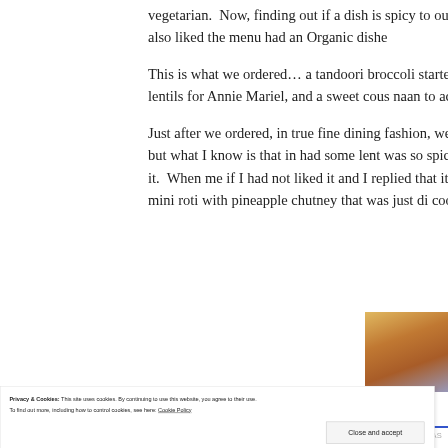vegetarian. Now, finding out if a dish is spicy to our tolerance level another thing altogether. We also liked the menu had an Organic dish
This is what we ordered… a tandoori broccoli starter to share, stewed for me, some organic black lentils for Annie Mariel, and a sweet cous naan to accompany it all.
Just after we ordered, in true fine dining fashion, we received an amo ask me in detail what it was, but what I know is that in had some lent was so spicy I was not able to eat more than two bites from it. When me if I had not liked it and I replied that it was delicious but just too s chef sent over some mini roti with pineapple chutney that was just di cooling effect my palate needed at the time.
[Figure (photo): Partial view of a golden/orange dish on a plate with bluish-grey background]
Privacy & Cookies: This site uses cookies. By continuing to use this website, you agree to their use.
To find out more, including how to control cookies, see here: Cookie Policy
Close and accept